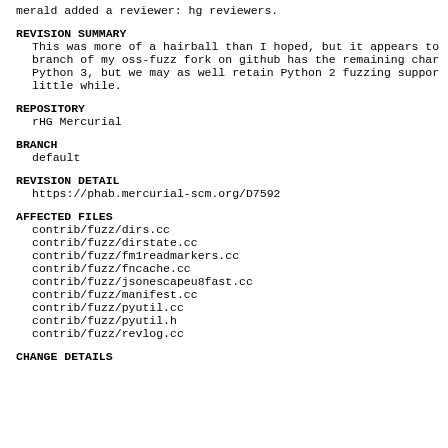merald added a reviewer: hg reviewers.
REVISION SUMMARY
This was more of a hairball than I hoped, but it appears to branch of my oss-fuzz fork on github has the remaining char Python 3, but we may as well retain Python 2 fuzzing suppor little while.
REPOSITORY
rHG Mercurial
BRANCH
default
REVISION DETAIL
https://phab.mercurial-scm.org/D7592
AFFECTED FILES
contrib/fuzz/dirs.cc
contrib/fuzz/dirstate.cc
contrib/fuzz/fm1readmarkers.cc
contrib/fuzz/fncache.cc
contrib/fuzz/jsonescapeu8fast.cc
contrib/fuzz/manifest.cc
contrib/fuzz/pyutil.cc
contrib/fuzz/pyutil.h
contrib/fuzz/revlog.cc
CHANGE DETAILS